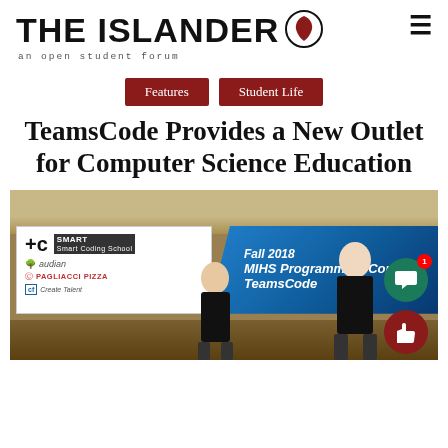THE ISLANDER — an open student forum
Features
Student Life
TeamsCode Provides a New Outlet for Computer Science Education
[Figure (photo): Photo of two students standing in front of a banner reading 'Fall 2018 MIHS Programming Contest TeamsCode' with sponsor logos including tc, SMART, Paudian, Pagliacci Pizza, and Create Talent]